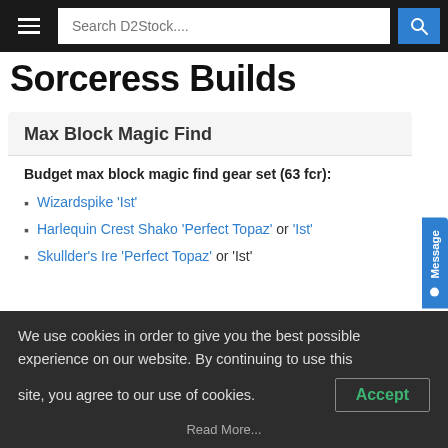Search D2Stock....
Sorceress Builds
Max Block Magic Find
Budget max block magic find gear set (63 fcr):
Wizardspike 'Ist'
Harlequin Crest Shako 'Perfect Topaz' or 'Ist'
Skullder's Ire 'Perfect Topaz' or 'Ist'
We use cookies in order to give you the best possible experience on our website. By continuing to use this site, you agree to our use of cookies.
Accept
Read More...